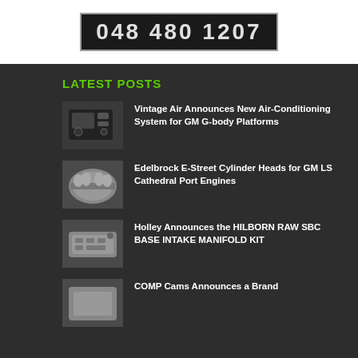[Figure (other): Phone number on dark background: 048 480 1207]
LATEST POSTS
[Figure (photo): Car interior dashboard with stereo/radio controls]
Vintage Air Announces New Air-Conditioning System for GM G-body Platforms
[Figure (photo): Edelbrock cylinder head engine part]
Edelbrock E-Street Cylinder Heads for GM LS Cathedral Port Engines
[Figure (photo): Intake manifold kit part]
Holley Announces the HILBORN RAW SBC BASE INTAKE MANIFOLD KIT
[Figure (photo): Partial image at bottom]
COMP Cams Announces a Brand